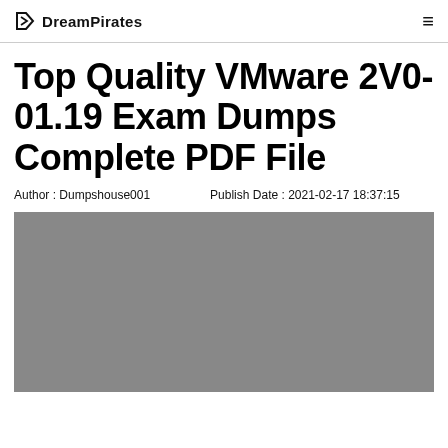DreamPirates
Top Quality VMware 2V0-01.19 Exam Dumps Complete PDF File
Author : Dumpshouse001    Publish Date : 2021-02-17 18:37:15
[Figure (photo): Gray placeholder image below the article title and metadata]